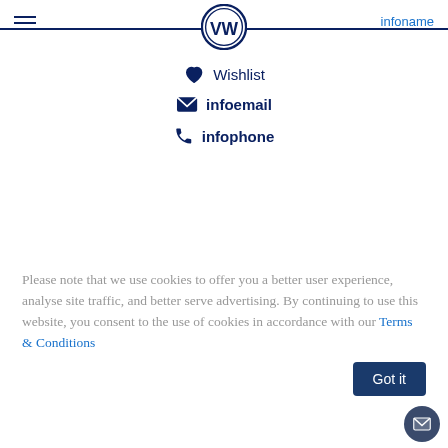VW logo, hamburger menu, infoname
Wishlist
infoemail
infophone
photos and or videos.
...
Please note that we use cookies to offer you a better user experience, analyse site traffic, and better serve advertising. By continuing to use this website, you consent to the use of cookies in accordance with our Terms & Conditions
Got it